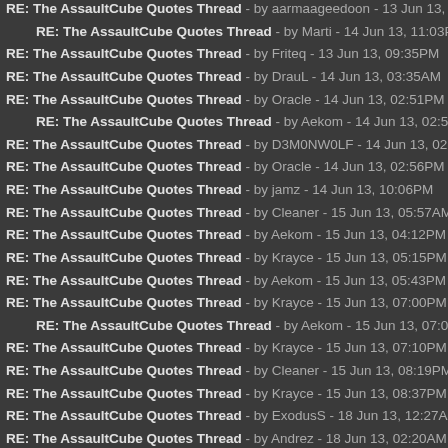RE: The AssaultCube Quotes Thread - by aarmaageedoon - 13 Jun 13, 09:2
RE: The AssaultCube Quotes Thread - by Marti - 14 Jun 13, 11:03PM
RE: The AssaultCube Quotes Thread - by Friteq - 13 Jun 13, 09:35PM
RE: The AssaultCube Quotes Thread - by DrauL - 14 Jun 13, 03:35AM
RE: The AssaultCube Quotes Thread - by Oracle - 14 Jun 13, 02:51PM
RE: The AssaultCube Quotes Thread - by Aekom - 14 Jun 13, 02:52PM
RE: The AssaultCube Quotes Thread - by D3M0NW0LF - 14 Jun 13, 02:54PM
RE: The AssaultCube Quotes Thread - by Oracle - 14 Jun 13, 02:56PM
RE: The AssaultCube Quotes Thread - by jamz - 14 Jun 13, 10:06PM
RE: The AssaultCube Quotes Thread - by Cleaner - 15 Jun 13, 05:57AM
RE: The AssaultCube Quotes Thread - by Aekom - 15 Jun 13, 04:12PM
RE: The AssaultCube Quotes Thread - by Krayce - 15 Jun 13, 05:15PM
RE: The AssaultCube Quotes Thread - by Aekom - 15 Jun 13, 05:43PM
RE: The AssaultCube Quotes Thread - by Krayce - 15 Jun 13, 07:00PM
RE: The AssaultCube Quotes Thread - by Aekom - 15 Jun 13, 07:06PM
RE: The AssaultCube Quotes Thread - by Krayce - 15 Jun 13, 07:10PM
RE: The AssaultCube Quotes Thread - by Cleaner - 15 Jun 13, 08:19PM
RE: The AssaultCube Quotes Thread - by Krayce - 15 Jun 13, 08:37PM
RE: The AssaultCube Quotes Thread - by ExodusS - 18 Jun 13, 12:27AM
RE: The AssaultCube Quotes Thread - by Andrez - 18 Jun 13, 02:20AM
RE: The AssaultCube Quotes Thread - by Oracle - 18 Jun 13, 08:11PM
RE: The AssaultCube Quotes Thread - by Marti - 21 Jun 13, 09:00PM
RE: The AssaultCube Quotes Thread - by D3M0NW0LF - 22 Jun 13, 02:27AM
RE: The AssaultCube Quotes Thread - by Vanquish - 22 Jun 13, 07:24PM